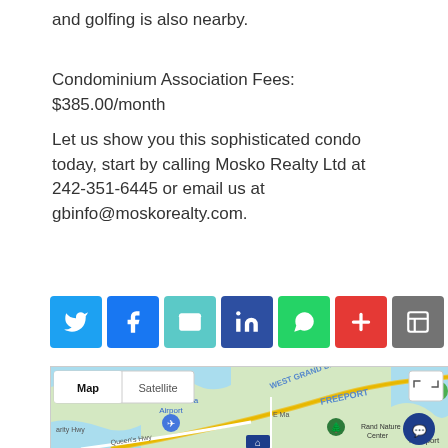and golfing is also nearby.
Condominium Association Fees: $385.00/month
Let us show you this sophisticated condo today, start by calling Mosko Realty Ltd at 242-351-6445 or email us at gbinfo@moskorealty.com.
[Figure (infographic): Social media sharing buttons: Twitter (blue), Facebook (dark blue), Email (teal), LinkedIn (navy), WhatsApp (green), More/Plus (red), Save (gray). Share count shows 0 SHARES.]
[Figure (map): Google Maps showing Grand Bahama Airport area, Freeport, Rand Nature Center, West Grand Bahama highway, Queen's Hwy, with Map/Satellite toggle and fullscreen button. Chat widget visible bottom right.]